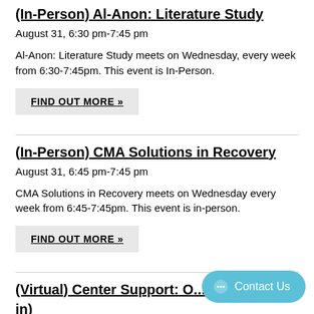(In-Person) Al-Anon: Literature Study
August 31, 6:30 pm-7:45 pm
Al-Anon: Literature Study meets on Wednesday, every week from 6:30-7:45pm. This event is In-Person.
FIND OUT MORE »
(In-Person) CMA Solutions in Recovery
August 31, 6:45 pm-7:45 pm
CMA Solutions in Recovery meets on Wednesday every week from 6:45-7:45pm. This event is in-person.
FIND OUT MORE »
(Virtual) Center Support: O... (in)
August 31, 7:00 - 8:30...